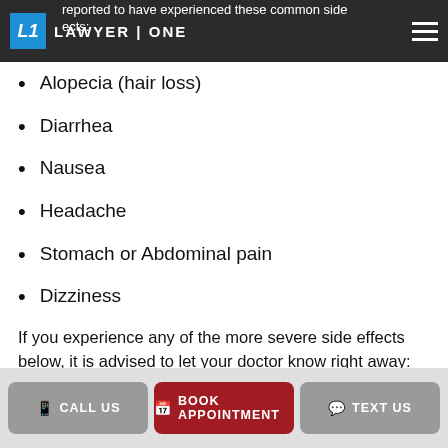LAWYER | ONE
reported to have experienced these common side effects:
Alopecia (hair loss)
Diarrhea
Nausea
Headache
Stomach or Abdominal pain
Dizziness
If you experience any of the more severe side effects below, it is advised to let your doctor know right away:
Bruising or bleeding (such as blood in stool)
CALL US  BOOK APPOINTMENT  TEXT US